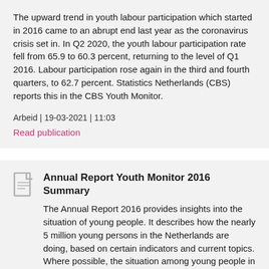The upward trend in youth labour participation which started in 2016 came to an abrupt end last year as the coronavirus crisis set in. In Q2 2020, the youth labour participation rate fell from 65.9 to 60.3 percent, returning to the level of Q1 2016. Labour participation rose again in the third and fourth quarters, to 62.7 percent. Statistics Netherlands (CBS) reports this in the CBS Youth Monitor.
Arbeid | 19-03-2021 | 11:03
Read publication
Annual Report Youth Monitor 2016 Summary
The Annual Report 2016 provides insights into the situation of young people. It describes how the nearly 5 million young persons in the Netherlands are doing, based on certain indicators and current topics. Where possible, the situation among young people in the Caribbean Netherlands is addressed as well. Topics discussed in this annual report